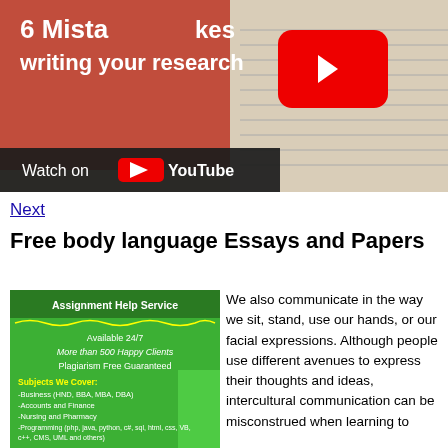[Figure (screenshot): YouTube video thumbnail showing text '6 Mistakes writing your research' over an image of books/papers, with a YouTube play button overlay and 'Watch on YouTube' bar at bottom]
Next
Free body language Essays and Papers
[Figure (advertisement): Assignment Help Service green ad banner: Available 24/7, More than 500 Happy Clients, Plagiarism Free Guaranteed, Subjects We Cover: Business (HND, BBA, MBA, DBA), Accounts and Finance, Nursing and Pharmacy, Programming (php, java, python, c#, sql, html, css, VB, c++, CMS, UML and others), Engineering (Civil, Electrical, Mechanical, Aeronautical)]
We also communicate in the way we sit, stand, use our hands, or our facial expressions. Although people use different avenues to express their thoughts and ideas, intercultural communication can be misconstrued when learning to